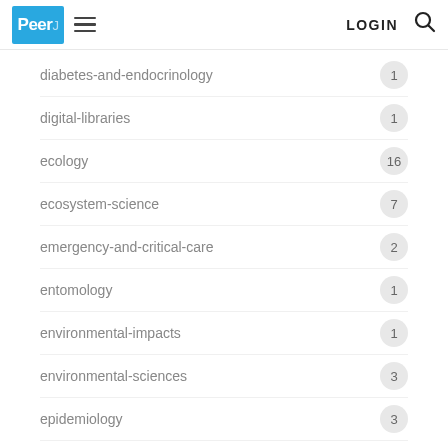PeerJ | hamburger menu | LOGIN | search
diabetes-and-endocrinology — 1
digital-libraries — 1
ecology — 16
ecosystem-science — 7
emergency-and-critical-care — 2
entomology — 1
environmental-impacts — 1
environmental-sciences — 3
epidemiology — 3
evolutionary-studies — 8
freshwater-biology — 1
genetics — 3
genomics — 1
geriatrics — 3